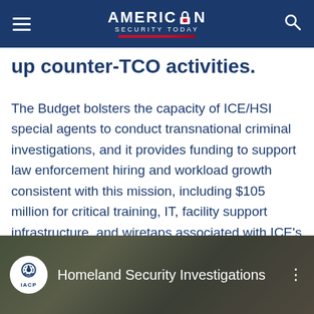AMERICAN SECURITY TODAY
up counter-TCO activities.
The Budget bolsters the capacity of ICE/HSI special agents to conduct transnational criminal investigations, and it provides funding to support law enforcement hiring and workload growth consistent with this mission, including $105 million for critical training, IT, facility support infrastructure, and wiretaps associated with ICE’s proposed increased staffing and workload.
[Figure (screenshot): Video thumbnail showing Homeland Security Investigations with IACP channel logo and blurred people in background]